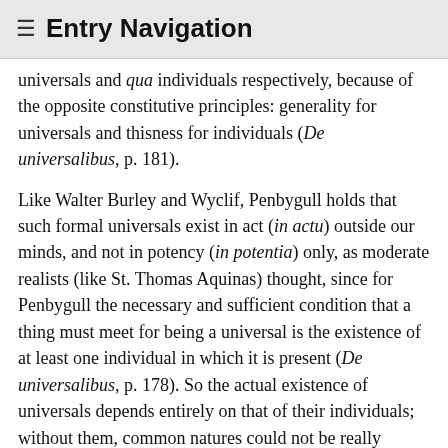≡ Entry Navigation
universals and qua individuals respectively, because of the opposite constitutive principles: generality for universals and thisness for individuals (De universalibus, p. 181).
Like Walter Burley and Wyclif, Penbygull holds that such formal universals exist in act (in actu) outside our minds, and not in potency (in potentia) only, as moderate realists (like St. Thomas Aquinas) thought, since for Penbygull the necessary and sufficient condition that a thing must meet for being a universal is the existence of at least one individual in which it is present (De universalibus, p. 178). So the actual existence of universals depends entirely on that of their individuals; without them, common natures could not be really universals.
On the logical side, this description of the relationship between universals and individuals in terms of real identity and formal distinction, entails that not all that is predicated of individuals can be directly (formaliter) attributed to their universals and vice versa. In particular,